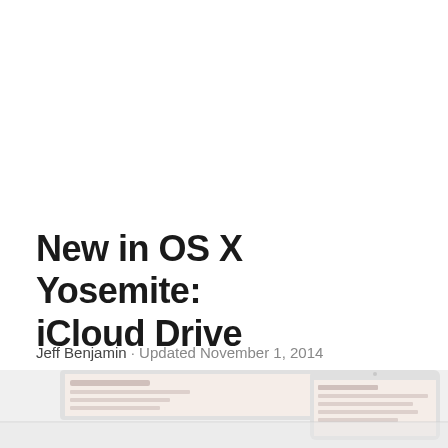New in OS X Yosemite: iCloud Drive
Jeff Benjamin · Updated November 1, 2014
[Figure (screenshot): Partial view of two Apple devices (MacBook and iPad) showing iCloud Drive interface, cropped at the bottom of the page]